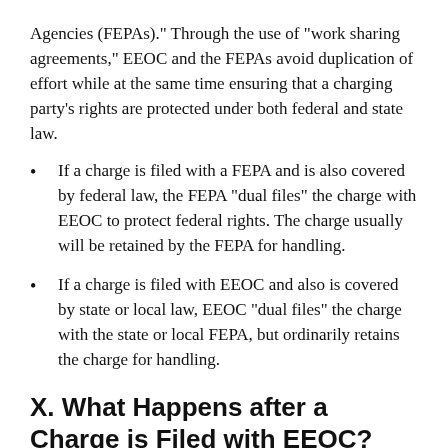Agencies (FEPAs)." Through the use of "work sharing agreements," EEOC and the FEPAs avoid duplication of effort while at the same time ensuring that a charging party's rights are protected under both federal and state law.
If a charge is filed with a FEPA and is also covered by federal law, the FEPA "dual files" the charge with EEOC to protect federal rights. The charge usually will be retained by the FEPA for handling.
If a charge is filed with EEOC and also is covered by state or local law, EEOC "dual files" the charge with the state or local FEPA, but ordinarily retains the charge for handling.
X. What Happens after a Charge is Filed with EEOC?